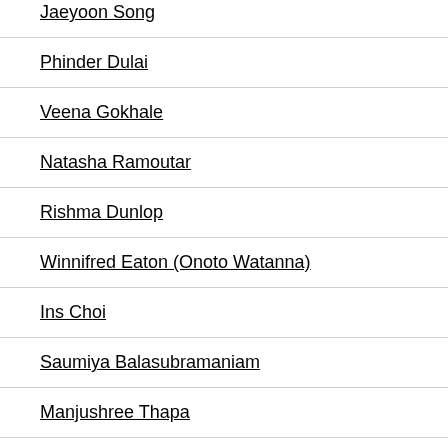Jaeyoon Song
Phinder Dulai
Veena Gokhale
Natasha Ramoutar
Rishma Dunlop
Winnifred Eaton (Onoto Watanna)
Ins Choi
Saumiya Balasubramaniam
Manjushree Thapa
Ramabai Espinet
Ayaz Pirani